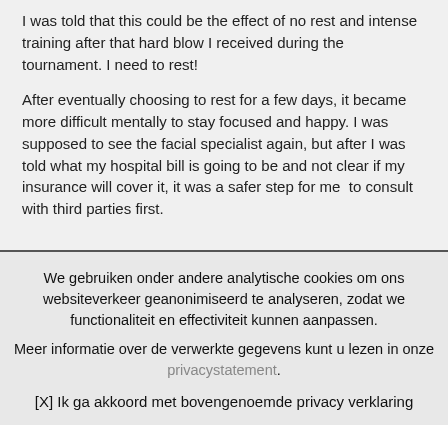I was told that this could be the effect of no rest and intense training after that hard blow I received during the tournament. I need to rest!
After eventually choosing to rest for a few days, it became more difficult mentally to stay focused and happy. I was supposed to see the facial specialist again, but after I was told what my hospital bill is going to be and not clear if my insurance will cover it, it was a safer step for me to consult with third parties first.
We gebruiken onder andere analytische cookies om ons websiteverkeer geanonimiseerd te analyseren, zodat we functionaliteit en effectiviteit kunnen aanpassen.
Meer informatie over de verwerkte gegevens kunt u lezen in onze privacystatement.
[X] Ik ga akkoord met bovengenoemde privacy verklaring